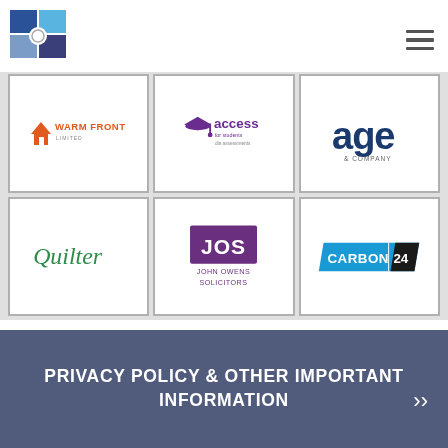[Figure (logo): Company logo top left - blue and gray quadrant design with circle]
[Figure (logo): Hamburger menu icon top right]
[Figure (logo): Warm Front Limited logo - red house icon with orange text]
[Figure (logo): Access for Students DLA Assessments logo - purple graduation cap]
[Figure (logo): age & company logo - dark blue stylized text]
[Figure (logo): Quilter logo - green serif text]
[Figure (logo): JOS John Owens Solicitors logo - purple square with JOS text]
[Figure (logo): Carbon24 logo - blue and dark parallelogram shape]
PRIVACY POLICY & OTHER IMPORTANT INFORMATION